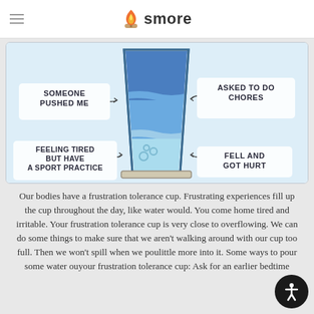smore
[Figure (illustration): A frustration tolerance cup diagram: a glass of water with blue liquid at different levels. Labels point to the cup: 'SOMEONE PUSHED ME' (left, upper), 'ASKED TO DO CHORES' (right, upper), 'FEELING TIRED BUT HAVE A SPORT PRACTICE' (left, lower), 'FELL AND GOT HURT' (right, lower). Background is light blue.]
Our bodies have a frustration tolerance cup. Frustrating experiences fill up the cup throughout the day, like water would. You come home tired and irritable. Your frustration tolerance cup is very close to overflowing. We can do some things to make sure that we aren't walking around with our cup too full. Then we won't spill when we pour a little more into it. Some ways to pour some water out of your frustration tolerance cup: Ask for an earlier bedtime